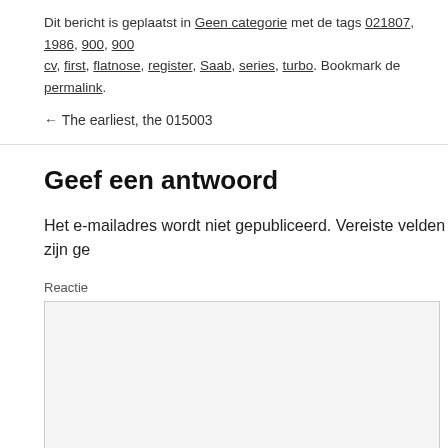Dit bericht is geplaatst in Geen categorie met de tags 021807, 1986, 900, 900, cv, first, flatnose, register, Saab, series, turbo. Bookmark de permalink.
← The earliest, the 015003
Geef een antwoord
Het e-mailadres wordt niet gepubliceerd. Vereiste velden zijn ge
Reactie
Naam *